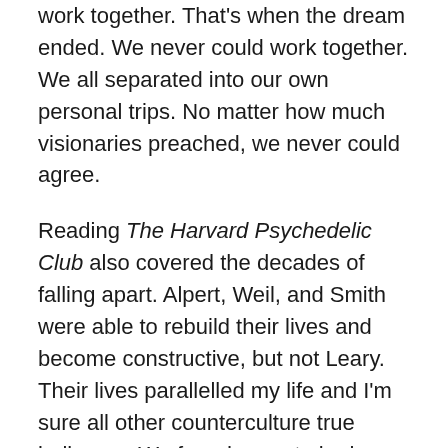work together. That's when the dream ended. We never could work together. We all separated into our own personal trips. No matter how much visionaries preached, we never could agree.
Reading The Harvard Psychedelic Club also covered the decades of falling apart. Alpert, Weil, and Smith were able to rebuild their lives and become constructive, but not Leary. Their lives parallelled my life and I'm sure all other counterculture true believers. We found ways to be here now. To make do with reality. To give up on our utopian fantasies.
Looking back I also remember what life was like when we were chasing those dreams in the 1960s and 1970s. Things were bleak. The war, the riots, the prejudices, the inequalities, the crime, the bombings